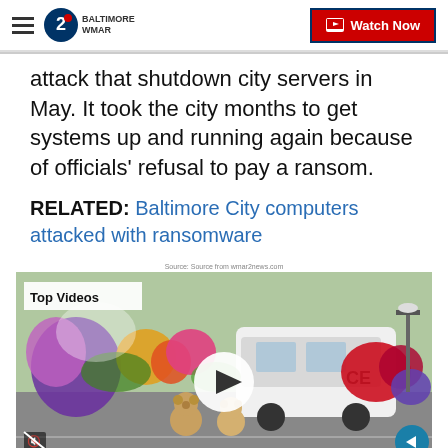WMAR Baltimore 2 | Watch Now
attack that shutdown city servers in May. It took the city months to get systems up and running again because of officials' refusal to pay a ransom.
RELATED: Baltimore City computers attacked with ransomware
Source: Source from wmar2news.com
[Figure (photo): Video player showing a memorial with flowers and teddy bears in front of a police vehicle. Overlay shows Top Videos label and a play button.]